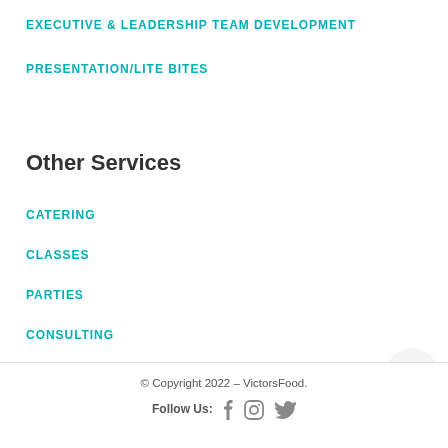EXECUTIVE & LEADERSHIP TEAM DEVELOPMENT
PRESENTATION/LITE BITES
Other Services
CATERING
CLASSES
PARTIES
CONSULTING
© Copyright 2022 – VictorsFood.
Follow Us: